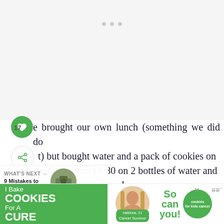[Figure (screenshot): White/light gray blank area at top of page representing an embedded video or image placeholder with three dots]
17 e brought our own lunch (something we did do it) but bought water and a pack of cookies on site. We spend €6,80 on 2 bottles of water and es. Insane.
WHAT'S NEXT → 9 Mistakes to avoid Travel...
T as they a ks and
[Figure (infographic): I Bake COOKIES For A CURE advertisement banner with photo of girl and cancer charity branding]